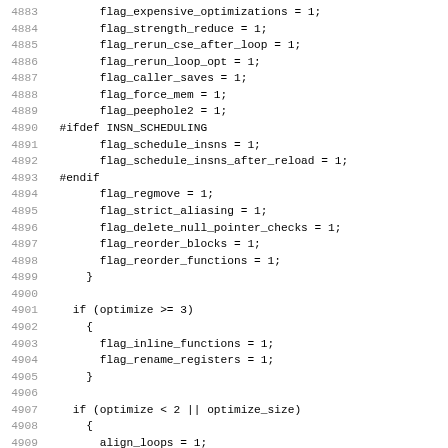Source code listing lines 4883-4914
| line | code |
| --- | --- |
| 4883 |         flag_expensive_optimizations = 1; |
| 4884 |         flag_strength_reduce = 1; |
| 4885 |         flag_rerun_cse_after_loop = 1; |
| 4886 |         flag_rerun_loop_opt = 1; |
| 4887 |         flag_caller_saves = 1; |
| 4888 |         flag_force_mem = 1; |
| 4889 |         flag_peephole2 = 1; |
| 4890 |   #ifdef INSN_SCHEDULING |
| 4891 |         flag_schedule_insns = 1; |
| 4892 |         flag_schedule_insns_after_reload = 1; |
| 4893 |   #endif |
| 4894 |         flag_regmove = 1; |
| 4895 |         flag_strict_aliasing = 1; |
| 4896 |         flag_delete_null_pointer_checks = 1; |
| 4897 |         flag_reorder_blocks = 1; |
| 4898 |         flag_reorder_functions = 1; |
| 4899 |       } |
| 4900 |  |
| 4901 |     if (optimize >= 3) |
| 4902 |       { |
| 4903 |         flag_inline_functions = 1; |
| 4904 |         flag_rename_registers = 1; |
| 4905 |       } |
| 4906 |  |
| 4907 |     if (optimize < 2 || optimize_size) |
| 4908 |       { |
| 4909 |         align_loops = 1; |
| 4910 |         align_jumps = 1; |
| 4911 |         align_labels = 1; |
| 4912 |         align_functions = 1; |
| 4913 |  |
| 4914 |         /* Don't reorder blocks when optimizing for size |